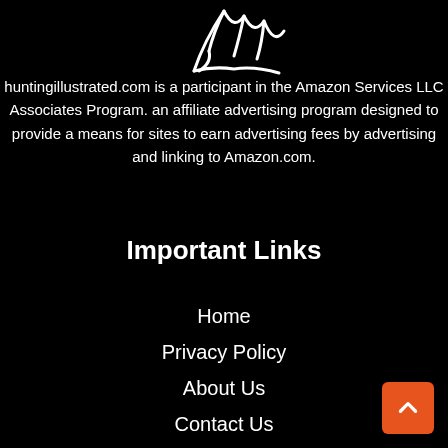[Figure (logo): Partial logo image at top of page, white line art on black background]
huntingillustrated.com is a participant in the Amazon Services LLC Associates Program. an affiliate advertising program designed to provide a means for sites to earn advertising fees by advertising and linking to Amazon.com.
Important Links
Home
Privacy Policy
About Us
Contact Us
DMCA